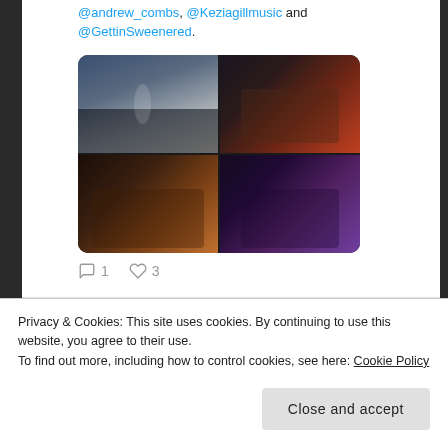@andrew_combs, @Keziagillmusic and @GettinSweenered.
[Figure (photo): Four-panel photo grid showing concert/music performance photos: top-left shows a large crowd at a concert, top-right shows a man in a red shirt playing guitar, bottom-left shows a man playing an electric guitar, bottom-right shows a woman with colorful hair playing acoustic guitar.]
1  3 (comment and like counts)
View more on Twitter
Privacy & Cookies: This site uses cookies. By continuing to use this website, you agree to their use.
To find out more, including how to control cookies, see here: Cookie Policy
Close and accept